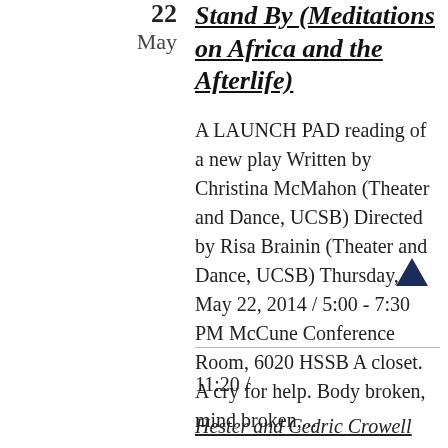22 May
Stand By (Meditations on Africa and the Afterlife)
A LAUNCH PAD reading of a new play Written by Christina McMahon (Theater and Dance, UCSB) Directed by Risa Brainin (Theater and Dance, UCSB) Thursday, May 22, 2014 / 5:00 - 7:30 PM McCune Conference Room, 6020 HSSB A closet. A cry for help. Body broken, mind broken,...
11:20 /
Hester and Cedric Crowell